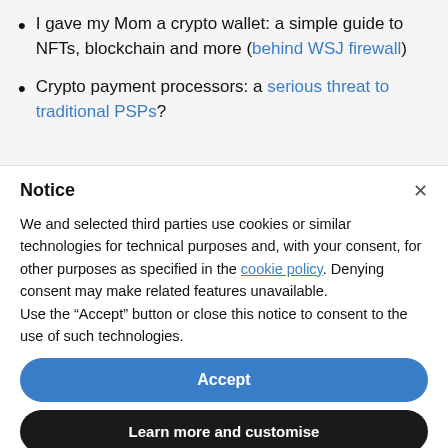I gave my Mom a crypto wallet: a simple guide to NFTs, blockchain and more (behind WSJ firewall)
Crypto payment processors: a serious threat to traditional PSPs?
Notice
We and selected third parties use cookies or similar technologies for technical purposes and, with your consent, for other purposes as specified in the cookie policy. Denying consent may make related features unavailable.
Use the “Accept” button or close this notice to consent to the use of such technologies.
Accept
Learn more and customise